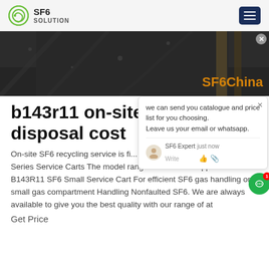SF6 SOLUTION
[Figure (photo): Dark asphalt/road surface hero image with SF6China watermark in orange text]
b143r11 on-site SF6 disposal cost
On-site SF6 recycling service is fi... ppm Dilo L057R01 Economy Series Service Carts The model range for universal applications Dilo B143R11 SF6 Small Service Cart For efficient SF6 gas handling on small gas compartment Handling Nonfaulted SF6. We are always available to give you the best quality with our range of at
Get Price